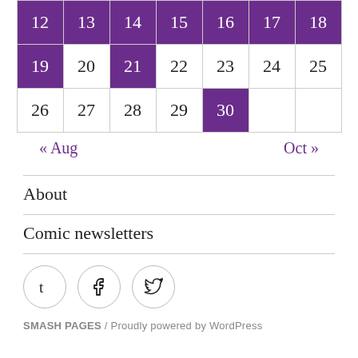| 12 | 13 | 14 | 15 | 16 | 17 | 18 |
| 19 | 20 | 21 | 22 | 23 | 24 | 25 |
| 26 | 27 | 28 | 29 | 30 |  |  |
« Aug    Oct »
About
Comic newsletters
[Figure (other): Social media icons: Tumblr, Facebook, Twitter]
SMASH PAGES / Proudly powered by WordPress